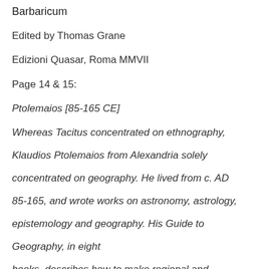Barbaricum
Edited by Thomas Grane
Edizioni Quasar, Roma MMVII
Page 14 & 15:
Ptolemaios [85-165 CE]
Whereas Tacitus concentrated on ethnography, Klaudios Ptolemaios from Alexandria solely concentrated on geography. He lived from c. AD 85-165, and wrote works on astronomy, astrology, epistemology and geography. His Guide to Geography, in eight books, describes how to make regional and world maps based on latitude and longitude; this Guide had a crucial influence on the cartography